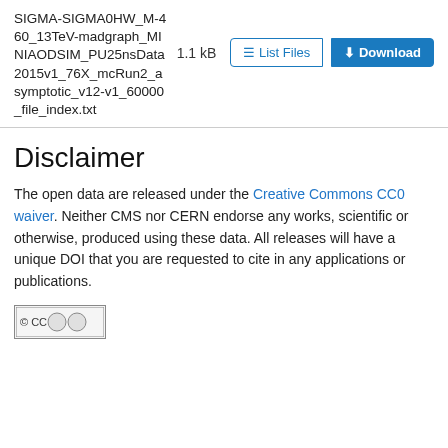SIGMA-SIGMA0HW_M-460_13TeV-madgraph_MINIAODSIM_PU25nsData2015v1_76X_mcRun2_asymptotic_v12-v1_60000_file_index.txt
1.1 kB
Disclaimer
The open data are released under the Creative Commons CC0 waiver. Neither CMS nor CERN endorse any works, scientific or otherwise, produced using these data. All releases will have a unique DOI that you are requested to cite in any applications or publications.
[Figure (logo): Creative Commons license badge/logo image]